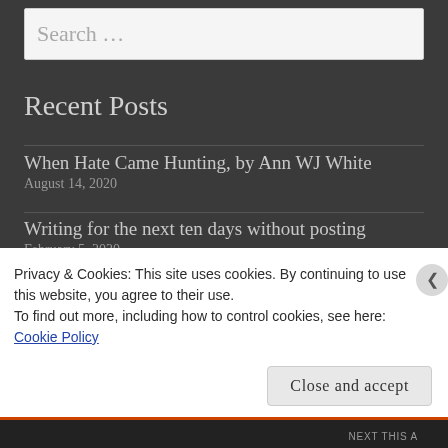Search ...
Recent Posts
When Hate Came Hunting, by Ann WJ White
August 14, 2020
Writing for the next ten days without posting
February 5, 2020
Winter Brown
January 30, 2020
One Thing
Privacy & Cookies: This site uses cookies. By continuing to use this website, you agree to their use.
To find out more, including how to control cookies, see here:
Cookie Policy
Close and accept